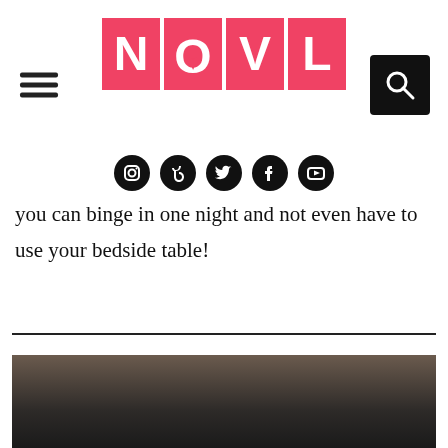NOVL logo with hamburger menu and search button
[Figure (logo): NOVL logo: four pink/red square tiles spelling N-O-V-L in white bold letters, with a heart replacing the O's interior. Hamburger menu icon on the left, black search button on the right.]
[Figure (infographic): Row of five social media icons (Instagram, TikTok, Twitter, Facebook, YouTube) as white icons on black circular backgrounds.]
you can binge in one night and not even have to use your bedside table!
[Figure (photo): Partially visible photograph at the bottom of the page, showing a dark background with what appears to be a person's hair/head.]